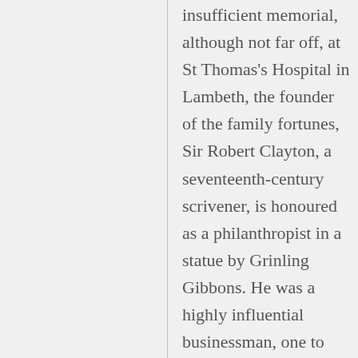insufficient memorial, although not far off, at St Thomas's Hospital in Lambeth, the founder of the family fortunes, Sir Robert Clayton, a seventeenth-century scrivener, is honoured as a philanthropist in a statue by Grinling Gibbons. He was a highly influential businessman, one to whom many an